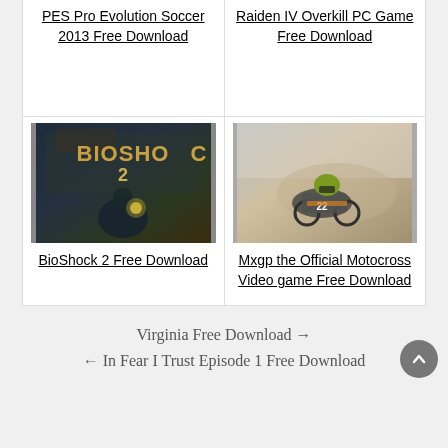PES Pro Evolution Soccer 2013 Free Download
Raiden IV Overkill PC Game Free Download
[Figure (photo): BioShock 2 game cover art showing underwater scene with character holding lantern]
BioShock 2 Free Download
[Figure (photo): Mxgp motocross game showing rider on dirt bike]
Mxgp the Official Motocross Video game Free Download
Virginia Free Download →
← In Fear I Trust Episode 1 Free Download